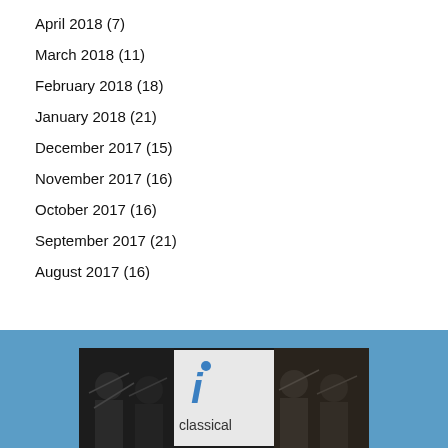April 2018 (7)
March 2018 (11)
February 2018 (18)
January 2018 (21)
December 2017 (15)
November 2017 (16)
October 2017 (16)
September 2017 (21)
August 2017 (16)
[Figure (photo): Orchestra musicians playing string instruments with an 'i classical' logo/banner overlay in the center]